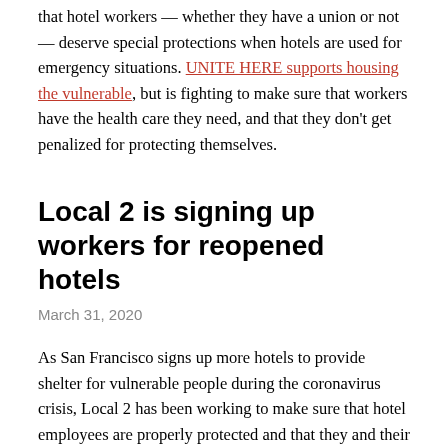that hotel workers — whether they have a union or not — deserve special protections when hotels are used for emergency situations. UNITE HERE supports housing the vulnerable, but is fighting to make sure that workers have the health care they need, and that they don't get penalized for protecting themselves.
Local 2 is signing up workers for reopened hotels
March 31, 2020
As San Francisco signs up more hotels to provide shelter for vulnerable people during the coronavirus crisis, Local 2 has been working to make sure that hotel employees are properly protected and that they and their families receive good quality health care. This